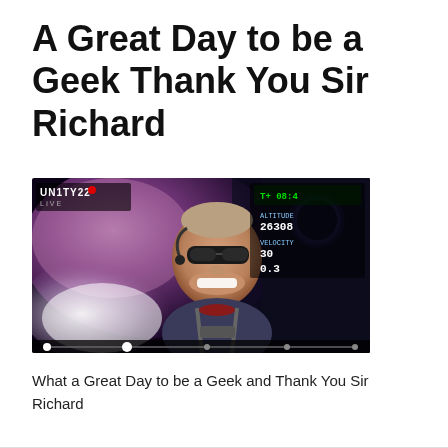A Great Day to be a Geek Thank You Sir Richard
[Figure (screenshot): Screenshot of a Virgin Galactic Unity 22 live broadcast showing a man (Sir Richard Branson) smiling broadly inside a spacecraft cockpit, wearing sunglasses and a flight suit, with a purple nebula-like view through the window. A telemetry overlay is visible in the upper corners showing numbers like 26308 and 30, with a video progress bar at the bottom.]
What a Great Day to be a Geek and Thank You Sir Richard